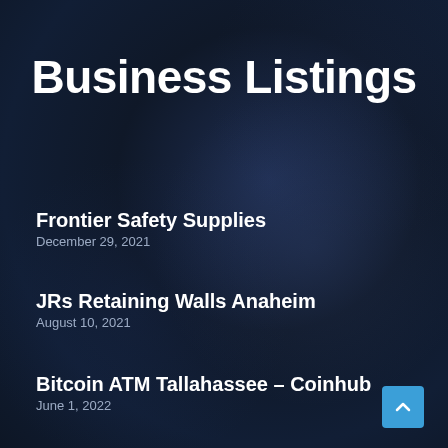Business Listings
Frontier Safety Supplies
December 29, 2021
JRs Retaining Walls Anaheim
August 10, 2021
Bitcoin ATM Tallahassee – Coinhub
June 1, 2022